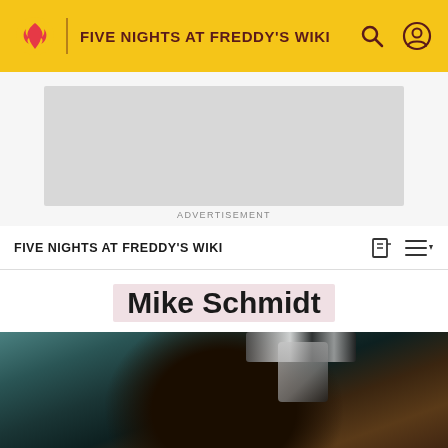FIVE NIGHTS AT FREDDY'S WIKI
[Figure (other): Advertisement placeholder box (gray rectangle)]
ADVERTISEMENT
FIVE NIGHTS AT FREDDY'S WIKI
Mike Schmidt
[Figure (photo): Photograph showing Freddy Fazbear animatronic character from Five Nights at Freddy's, dark scene with teal/dark background, animatronic bear torso visible]